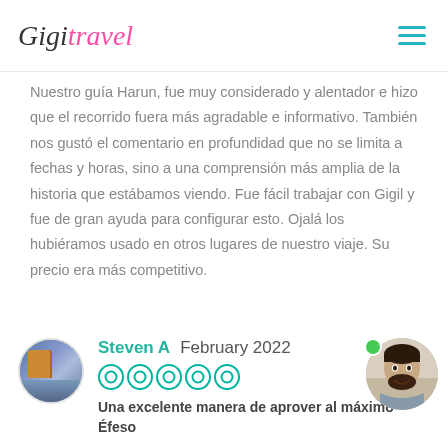Gigil Travel
Nuestro guía Harun, fue muy considerado y alentador e hizo que el recorrido fuera más agradable e informativo. También nos gustó el comentario en profundidad que no se limita a fechas y horas, sino a una comprensión más amplia de la historia que estábamos viendo. Fue fácil trabajar con Gigil y fue de gran ayuda para configurar esto. Ojalá los hubiéramos usado en otros lugares de nuestro viaje. Su precio era más competitivo.
Steven A  February 2022
[Figure (other): Five TripAdvisor-style circle rating icons indicating 5-star review]
Una excelente manera de aprovechar al máximo Éfeso